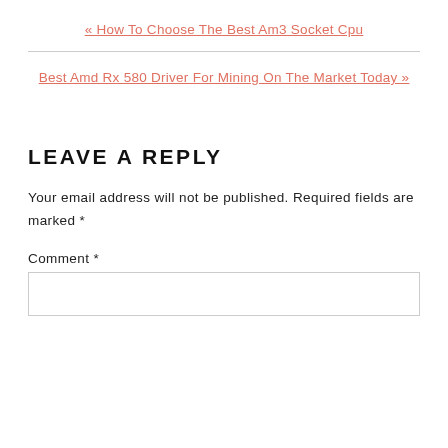« How To Choose The Best Am3 Socket Cpu
Best Amd Rx 580 Driver For Mining On The Market Today »
LEAVE A REPLY
Your email address will not be published. Required fields are marked *
Comment *